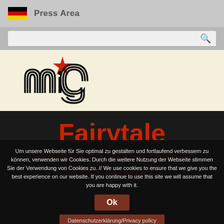Press Area
[Figure (logo): MIG Music logo with red star above stylized 'mig' lettering on cream background]
Fairytale
Autumn's Crown (Magic Mile Music)
Um unsere Webseite für Sie optimal zu gestalten und fortlaufend verbessern zu können, verwenden wir Cookies. Durch die weitere Nutzung der Webseite stimmen Sie der Verwendung von Cookies zu. // We use cookies to ensure that we give you the best experience on our website. If you continue to use this site we will assume that you are happy with it.
Ok
Datenschutzerklärung/Privacy policy